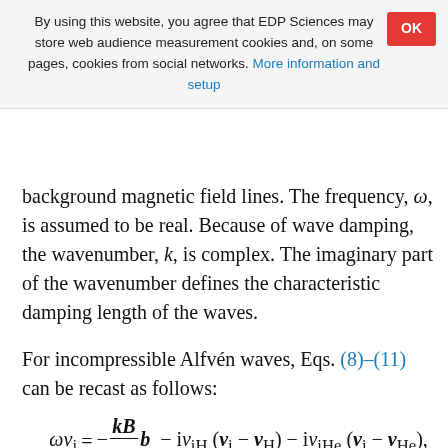By using this website, you agree that EDP Sciences may store web audience measurement cookies and, on some pages, cookies from social networks. More information and setup
background magnetic field lines. The frequency, ω, is assumed to be real. Because of wave damping, the wavenumber, k, is complex. The imaginary part of the wavenumber defines the characteristic damping length of the waves.
For incompressible Alfvén waves, Eqs. (8)–(11) can be recast as follows: